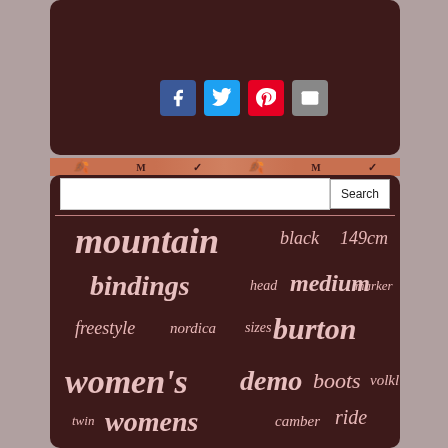[Figure (screenshot): Dark brown rounded box at top with social share buttons (Facebook, Twitter, Pinterest, Email)]
[Figure (screenshot): Search bar with text input and Search button]
[Figure (infographic): Tag cloud / word cloud on dark brown background showing ski/snowboard related terms: mountain, black, 149cm, bindings, head, medium, marker, freestyle, nordica, sizes, burton, women's, demo, boots, volkl, twin, womens, camber, ride, skis, size, women, rossignol, snowboard, used, rocker, withbindings, mint, ladies]